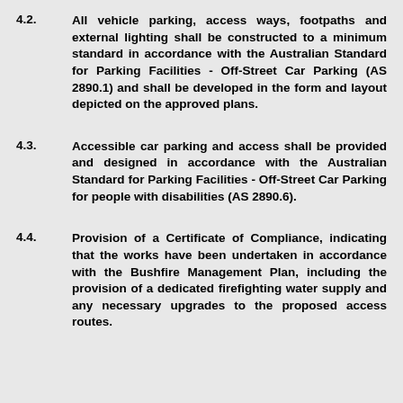4.2. All vehicle parking, access ways, footpaths and external lighting shall be constructed to a minimum standard in accordance with the Australian Standard for Parking Facilities - Off-Street Car Parking (AS 2890.1) and shall be developed in the form and layout depicted on the approved plans.
4.3. Accessible car parking and access shall be provided and designed in accordance with the Australian Standard for Parking Facilities - Off-Street Car Parking for people with disabilities (AS 2890.6).
4.4. Provision of a Certificate of Compliance, indicating that the works have been undertaken in accordance with the Bushfire Management Plan, including the provision of a dedicated firefighting water supply and any necessary upgrades to the proposed access routes.